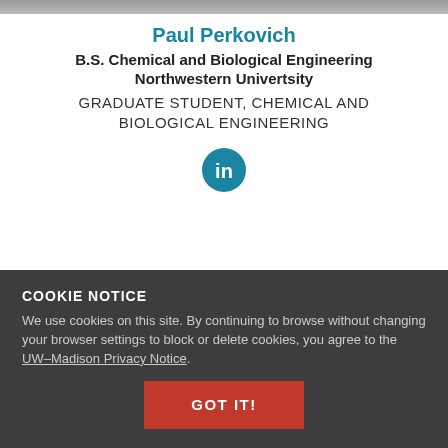[Figure (photo): Partial view of a person in professional attire (cropped at top)]
Paul Perkovich
B.S. Chemical and Biological Engineering
Northwestern Univertsity
GRADUATE STUDENT, CHEMICAL AND BIOLOGICAL ENGINEERING
[Figure (logo): LinkedIn circular icon (teal background with 'in' text)]
COOKIE NOTICE
We use cookies on this site. By continuing to browse without changing your browser settings to block or delete cookies, you agree to the UW–Madison Privacy Notice.
GOT IT!